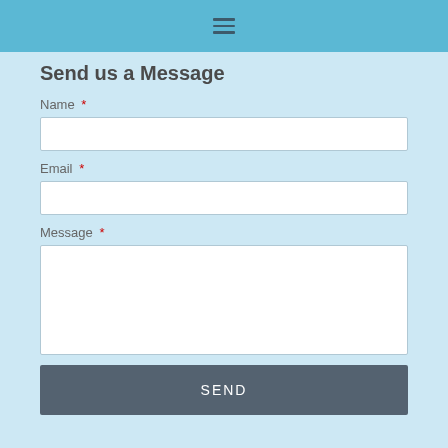☰ (hamburger menu icon)
Send us a Message
Name *
Email *
Message *
SEND